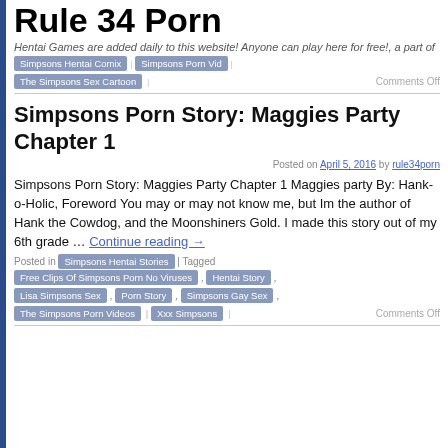Rule 34 Porn
Hentai Games are added daily to this website! Anyone can play here for free!, a part of
Simpsons Hentai Comix | Simpsons Porn Vid | The Simpsons Sex Cartoon | Comments Off
Simpsons Porn Story: Maggies Party Chapter 1
Posted on April 5, 2016 by rule34porn
Simpsons Porn Story: Maggies Party Chapter 1 Maggies party By: Hank-o-Holic, Foreword You may or may not know me, but Im the author of Hank the Cowdog, and the Moonshiners Gold. I made this story out of my 6th grade … Continue reading →
Posted in Simpsons Hentai Stories | Tagged Free Clips Of Simpsons Porn No Viruses , Hentai Story , Lisa Simpsons Sex , Porn Story , Simpsons Gay Sex , The Simpsons Porn Videos | Xxx Simpsons | Comments Off